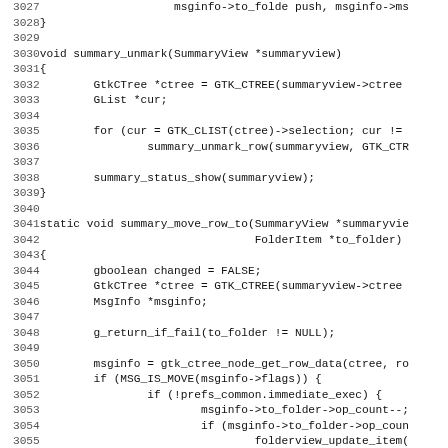[Figure (screenshot): Source code listing in C showing functions summary_unmark and summary_move_row_to with line numbers 3027-3059]